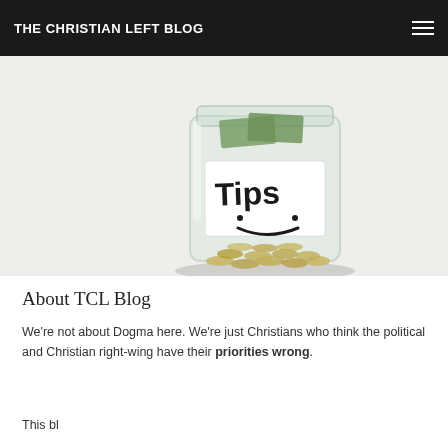THE CHRISTIAN LEFT BLOG
[Figure (photo): A glass jar labeled 'Tips' with a smiley face, filled with coins and dollar bills]
About TCL Blog
We're not about Dogma here. We're just Christians who think the political and Christian right-wing have their priorities wrong.
This blog...